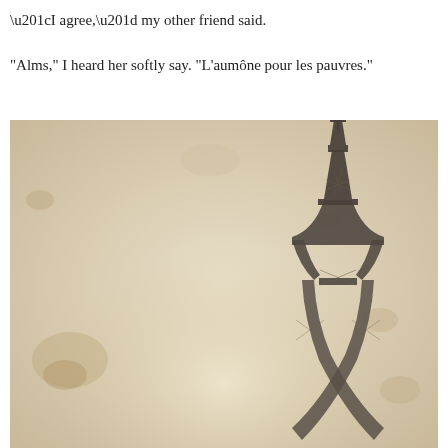“I agree,” my other friend said.
“Alms,” I heard her softly say. “L’aumône pour les pauvres.”
[Figure (photo): Vintage sepia-toned photograph of the Eiffel Tower, centered in frame, shot from below looking up, set against a weathered, stained beige/cream background.]